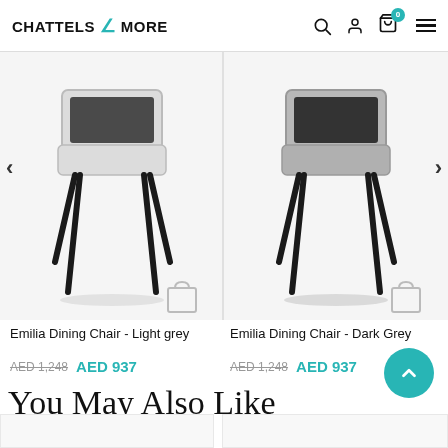CHATTELS & MORE
[Figure (photo): Emilia Dining Chair - Light grey, shown from front/above angle on white background]
[Figure (photo): Emilia Dining Chair - Dark Grey, shown from front/above angle on white background]
Emilia Dining Chair - Light grey
AED 1,248  AED 937
Emilia Dining Chair - Dark Grey
AED 1,248  AED 937
You May Also Like